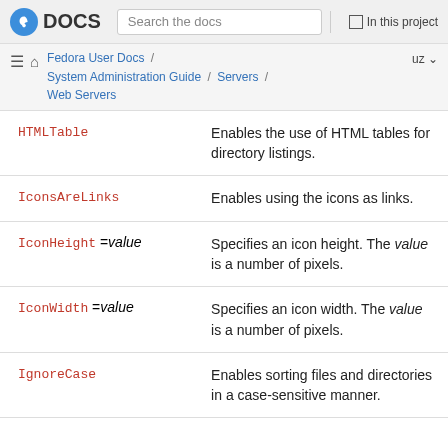DOCS  Search the docs  In this project
Fedora User Docs / System Administration Guide / Servers / Web Servers  uz
| Option | Description |
| --- | --- |
| HTMLTable | Enables the use of HTML tables for directory listings. |
| IconsAreLinks | Enables using the icons as links. |
| IconHeight =value | Specifies an icon height. The value is a number of pixels. |
| IconWidth =value | Specifies an icon width. The value is a number of pixels. |
| IgnoreCase | Enables sorting files and directories in a case-sensitive manner. |